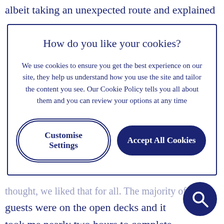albeit taking an unexpected route and explained
How do you like your cookies?
We use cookies to ensure you get the best experience on our site, they help us understand how you use the site and tailor the content you see. Our Cookie Policy tells you all about them and you can review your options at any time
Customise Settings
Accept All Cookies
thought, we likised that for all. The majority of guests were on the open decks and it took me nearly two hours to complete my walk from deck 14 down to deck 6, as I stopped for a number of pleasant chats. Seeing how guests